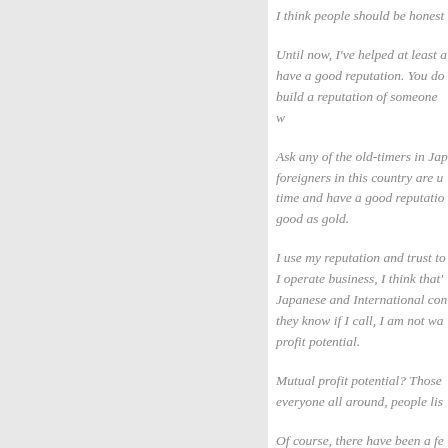I think people should be honest
Until now, I've helped at least a have a good reputation. You do build a reputation of someone w
Ask any of the old-timers in Jap foreigners in this country are u time and have a good reputatio good as gold.
I use my reputation and trust to I operate business, I think that' Japanese and International con they know if I call, I am not wa profit potential.
Mutual profit potential? Those everyone all around, people lis
Of course, there have been a fe